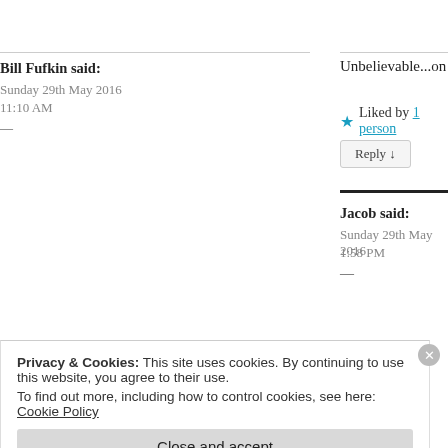Bill Fufkin said:
Sunday 29th May 2016
11:10 AM
Unbelievable...on all counts! Evidently, you need
★ Liked by 1 person
Reply ↓
Jacob said:
Sunday 29th May 2016
1:58 PM
Thank you, Bill – but than I imagined! 😉
★ Like
Reply ↓
Privacy & Cookies: This site uses cookies. By continuing to use this website, you agree to their use.
To find out more, including how to control cookies, see here: Cookie Policy
Close and accept